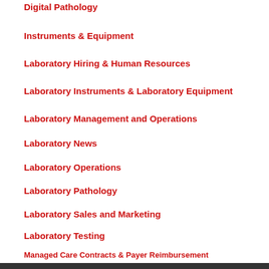Digital Pathology
Instruments & Equipment
Laboratory Hiring & Human Resources
Laboratory Instruments & Laboratory Equipment
Laboratory Management and Operations
Laboratory News
Laboratory Operations
Laboratory Pathology
Laboratory Sales and Marketing
Laboratory Testing
Managed Care Contracts & Payer Reimbursement
Management & Operations
News From Dark Daily